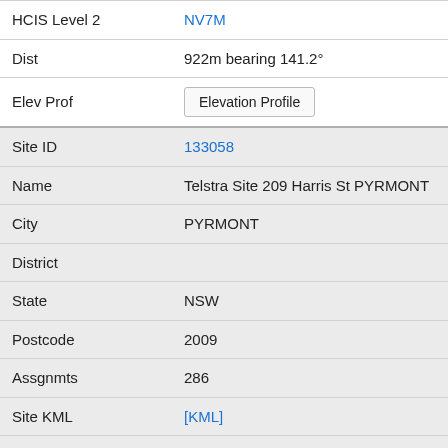| Field | Value |
| --- | --- |
| HCIS Level 2 | NV7M |
| Dist | 922m bearing 141.2° |
| Elev Prof | [Elevation Profile button] |
| Site ID | 133058 |
| Name | Telstra Site 209 Harris St PYRMONT |
| City | PYRMONT |
| District |  |
| State | NSW |
| Postcode | 2009 |
| Assgnmts | 286 |
| Site KML | [KML] |
| HCIS Level 2 | NV7M |
| Dist | 923m bearing 51.0° |
| Elev Prof | [Elevation Profile button] |
| Site ID | 10028771 |
| Name | Telstra Street Cell, Corner of Cross Sreet and |